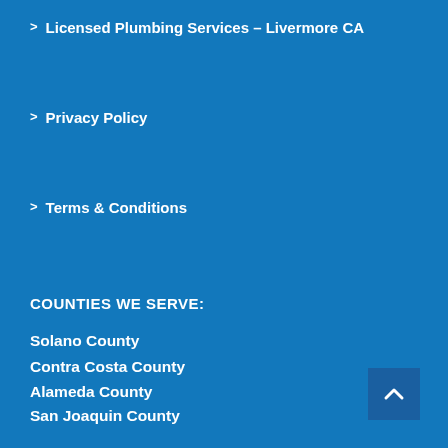> Licensed Plumbing Services – Livermore CA
> Privacy Policy
> Terms & Conditions
COUNTIES WE SERVE:
Solano County
Contra Costa County
Alameda County
San Joaquin County
Stanislaus County
Santa Clara County
San Benito County
San Mateo County